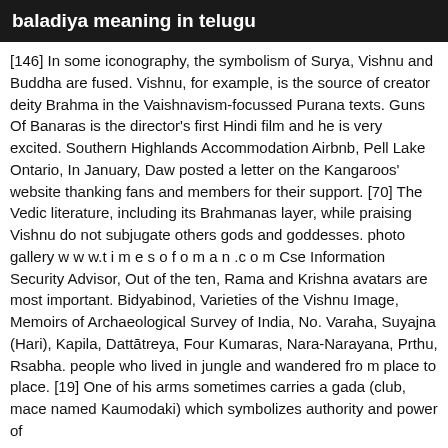baladiya meaning in telugu
[146] In some iconography, the symbolism of Surya, Vishnu and Buddha are fused. Vishnu, for example, is the source of creator deity Brahma in the Vaishnavism-focussed Purana texts. Guns Of Banaras is the director's first Hindi film and he is very excited. Southern Highlands Accommodation Airbnb, Pell Lake Ontario, In January, Daw posted a letter on the Kangaroos' website thanking fans and members for their support. [70] The Vedic literature, including its Brahmanas layer, while praising Vishnu do not subjugate others gods and goddesses. photo gallery w w w.t i m e s o f o m a n .c o m Cse Information Security Advisor, Out of the ten, Rama and Krishna avatars are most important. Bidyabinod, Varieties of the Vishnu Image, Memoirs of Archaeological Survey of India, No. Varaha, Suyajna (Hari), Kapila, Dattātreya, Four Kumaras, Nara-Narayana, Prthu, Rsabha. people who lived in jungle and wandered fro m place to place. [19] One of his arms sometimes carries a gada (club, mace named Kaumodaki) which symbolizes authority and power of